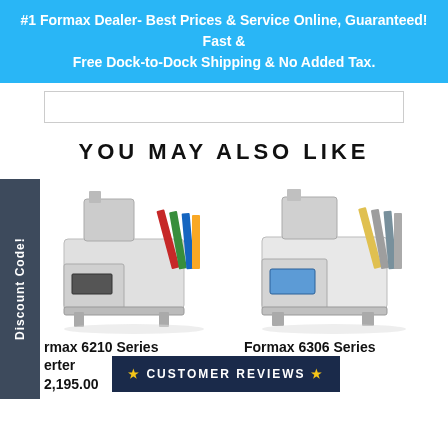#1 Formax Dealer- Best Prices & Service Online, Guaranteed! Fast & Free Dock-to-Dock Shipping & No Added Tax.
YOU MAY ALSO LIKE
[Figure (photo): Formax 6210 Series Inserter machine photo]
[Figure (photo): Formax 6306 Series Inserter machine photo]
Formax 6210 Series Inserter
$32,195.00
Formax 6306 Series Inserter
$33,650.00
Discount Code!
★ CUSTOMER REVIEWS ★